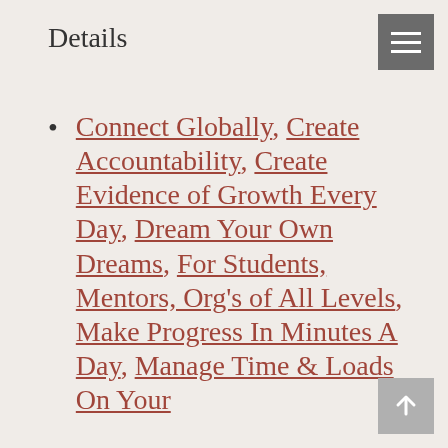Details
Connect Globally, Create Accountability, Create Evidence of Growth Every Day, Dream Your Own Dreams, For Students, Mentors, Org's of All Levels, Make Progress In Minutes A Day, Manage Time & Loads On Your